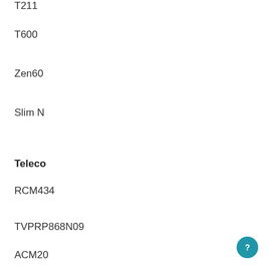T211
T600
Zen60
Slim N
Teleco
RCM434
TVPRP868N09
ACM20